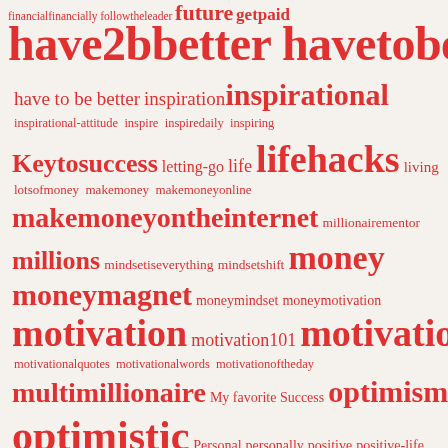[Figure (infographic): Word cloud with motivational, financial, and inspirational hashtag terms in varying font sizes, all in red on a light cream/beige background. Larger words indicate higher frequency or importance.]